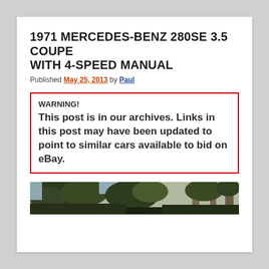1971 MERCEDES-BENZ 280SE 3.5 COUPE WITH 4-SPEED MANUAL
Published May 25, 2013 by Paul
WARNING!
This post is in our archives. Links in this post may have been updated to point to similar cars available to bid on eBay.
[Figure (photo): Partial view of a car photographed outdoors with trees in background, image cropped at bottom of page]